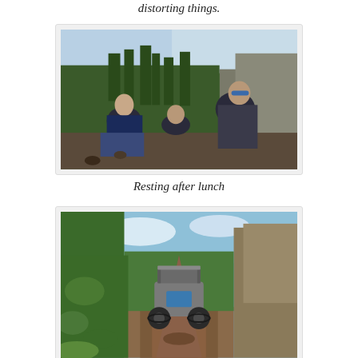distorting things.
[Figure (photo): Three people resting outdoors against a rocky hillside surrounded by pine trees. One person is sitting up wearing sunglasses, another is lying down in the center, and a third is seated to the right also wearing blue sunglasses. They are wearing outdoor/hiking gear.]
Resting after lunch
[Figure (photo): A side-by-side UTV/ATV vehicle driving away down a narrow muddy dirt trail through dense green forest with trees and brush on both sides and a rocky hillside to the right.]